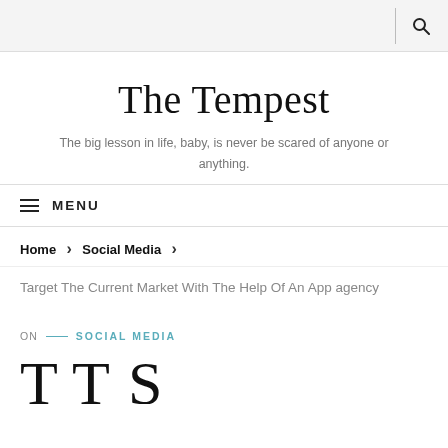[search icon]
The Tempest
The big lesson in life, baby, is never be scared of anyone or anything.
≡ MENU
Home › Social Media ›
Target The Current Market With The Help Of An App agency
ON — SOCIAL MEDIA
[Figure (other): Partial large decorative serif text at bottom of page, partially cut off]